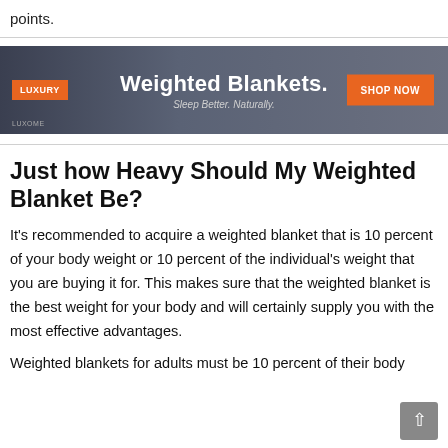points.
[Figure (other): Advertisement banner for Luxome Luxury Weighted Blankets with orange LUXURY badge on left, white bold text 'Weighted Blankets. Sleep Better. Naturally.' in center, and orange SHOP NOW button on right, dark background with person sleeping image.]
Just how Heavy Should My Weighted Blanket Be?
It's recommended to acquire a weighted blanket that is 10 percent of your body weight or 10 percent of the individual's weight that you are buying it for. This makes sure that the weighted blanket is the best weight for your body and will certainly supply you with the most effective advantages.
Weighted blankets for adults must be 10 percent of their body